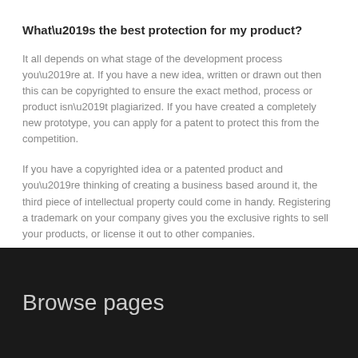What’s the best protection for my product?
It all depends on what stage of the development process you’re at. If you have a new idea, written or drawn out then this can be copyrighted to ensure the exact method, process or product isn’t plagiarized. If you have created a completely new prototype, you can apply for a patent to protect this from the competition.
If you have a copyrighted idea or a patented product and you’re thinking of creating a business based around it, the third piece of intellectual property could come in handy. Registering a trademark on your company gives you the exclusive rights to sell your products, or license it out to other companies.
Browse pages